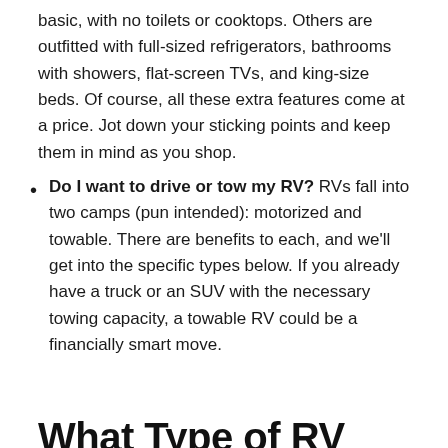basic, with no toilets or cooktops. Others are outfitted with full-sized refrigerators, bathrooms with showers, flat-screen TVs, and king-size beds. Of course, all these extra features come at a price. Jot down your sticking points and keep them in mind as you shop.
Do I want to drive or tow my RV? RVs fall into two camps (pun intended): motorized and towable. There are benefits to each, and we'll get into the specific types below. If you already have a truck or an SUV with the necessary towing capacity, a towable RV could be a financially smart move.
What Type of RV Should I Buy?